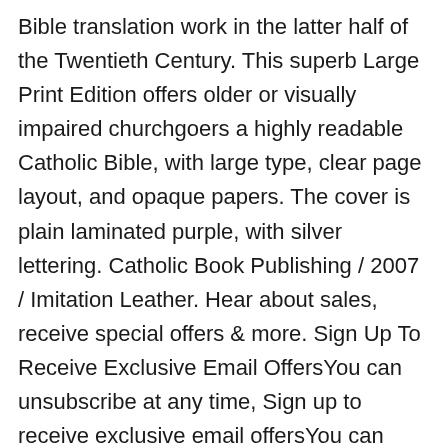Bible translation work in the latter half of the Twentieth Century. This superb Large Print Edition offers older or visually impaired churchgoers a highly readable Catholic Bible, with large type, clear page layout, and opaque papers. The cover is plain laminated purple, with silver lettering. Catholic Book Publishing / 2007 / Imitation Leather. Hear about sales, receive special offers & more. Sign Up To Receive Exclusive Email OffersYou can unsubscribe at any time, Sign up to receive exclusive email offersYou can unsubscribe at any time, 1-800-CHRISTIAN1-800-247-4784(Outside the United Statesand Canada Call: 978-977-5000). The New Revised Standard Version Bible, Large Print Edition: with Apocrypha Hardcover – Large Print, April 15 2000 by Oxford (Editor) 3.5 out of 5 stars 4 ratings. The Revised Standard Version (RSV) is a comprehensive revision